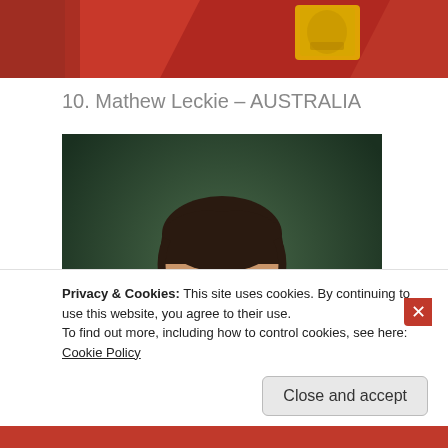[Figure (photo): Cropped top portion of a person in a red jersey with yellow emblem, only lower face and torso visible]
10. Mathew Leckie – AUSTRALIA
[Figure (photo): Portrait photo of Mathew Leckie wearing yellow Australia national football team jersey with green collar and Nike swoosh, dark green background]
Privacy & Cookies: This site uses cookies. By continuing to use this website, you agree to their use.
To find out more, including how to control cookies, see here: Cookie Policy
Close and accept